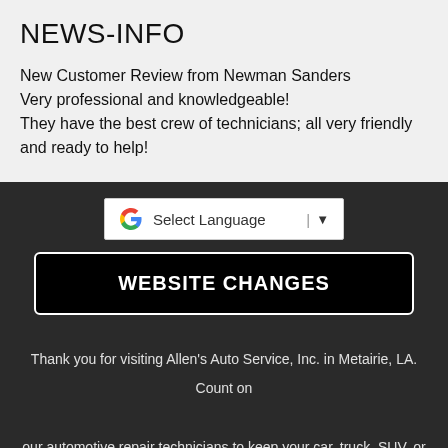NEWS-INFO
New Customer Review from Newman Sanders
Very professional and knowledgeable!
They have the best crew of technicians; all very friendly and ready to help!
[Figure (screenshot): Google Translate widget with 'Select Language' dropdown]
WEBSITE CHANGES
Thank you for visiting Allen's Auto Service, Inc. in Metairie, LA. Count on our automotive repair technicians to keep your car, truck, SUV, or van on the roads longer and safer.

Schedule your appointment today (504) 780-9804 or REQUEST